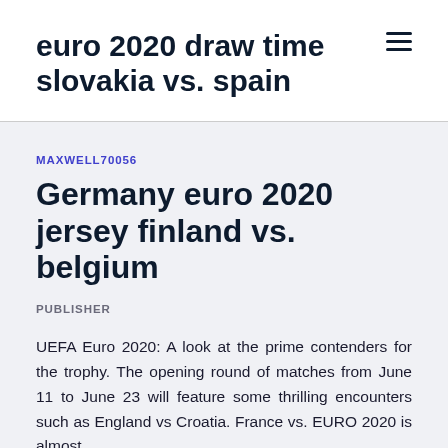euro 2020 draw time slovakia vs. spain
MAXWELL70056
Germany euro 2020 jersey finland vs. belgium
PUBLISHER
UEFA Euro 2020: A look at the prime contenders for the trophy. The opening round of matches from June 11 to June 23 will feature some thrilling encounters such as England vs Croatia. France vs. EURO 2020 is almost